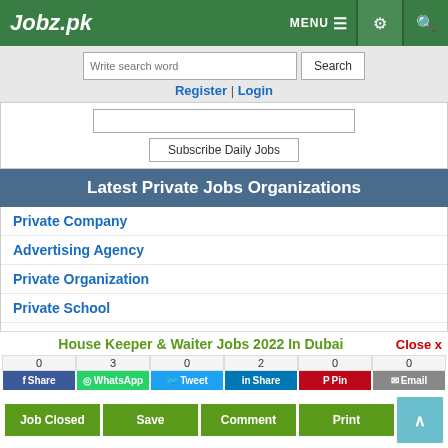Jobz.pk — MENU, settings, search icons
Write search word | Search | Register | Login
Subscribe Daily Jobs
Latest Private Jobs Organizations
Private Company
Advertising Agency
Private Organization
Private School
Allied Schools
University of Malakand
House Keeper & Waiter Jobs 2022 In Dubai
0 Share | 3 WhatsApp | 0 Tweet | 2 Share | 0 Pin | 0 Email
Job Closed | Save | Comment | Print